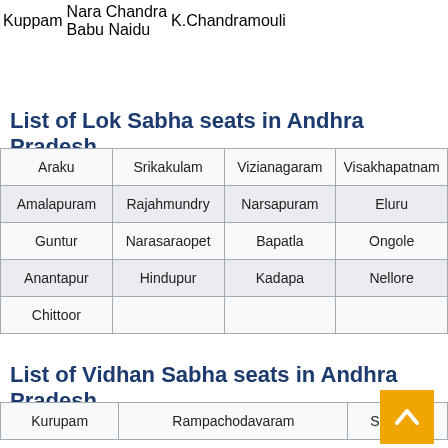| Kuppam | Nara Chandra
Babu Naidu | K.Chandramouli |
List of Lok Sabha seats in Andhra Pradesh
| Araku | Srikakulam | Vizianagaram | Visakhapatnam |
| Amalapuram | Rajahmundry | Narsapuram | Eluru | M… |
| Guntur | Narasaraopet | Bapatla | Ongole |
| Anantapur | Hindupur | Kadapa | Nellore |
| Chittoor |  |  |  |
List of Vidhan Sabha seats in Andhra Pradesh
| Kurupam | Rampachodavaram | Salur | … |